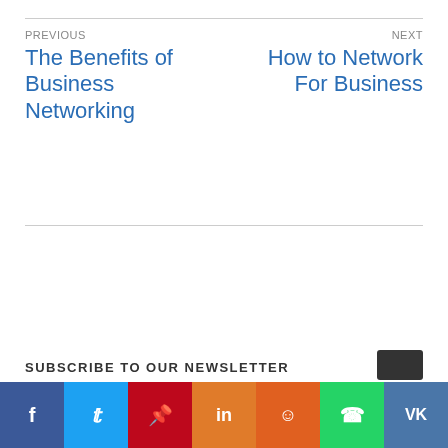PREVIOUS
The Benefits of Business Networking
NEXT
How to Network For Business
SUBSCRIBE TO OUR NEWSLETTER
[Figure (infographic): Social media share buttons bar: Facebook (blue), Twitter (light blue), Pinterest (red), LinkedIn (orange), Reddit (orange-red), WhatsApp (green), VK (dark blue)]